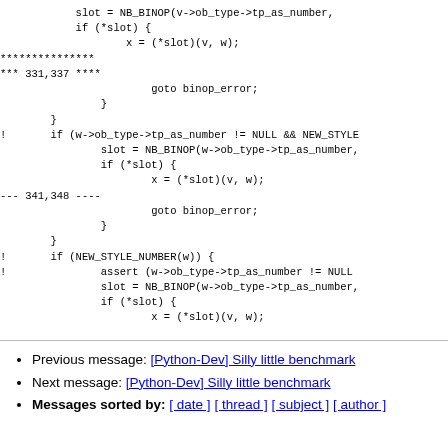slot = NB_BINOP(v->ob_type->tp_as_number,
            if (*slot) {
                    x = (*slot)(v, w);
***************
*** 331,337 ****
                        goto binop_error;
                }
        }
!       if (w->ob_type->tp_as_number != NULL && NEW_STYLE
                slot = NB_BINOP(w->ob_type->tp_as_number,
                if (*slot) {
                        x = (*slot)(v, w);
--- 341,348 ----
                        goto binop_error;
                }
        }
!       if (NEW_STYLE_NUMBER(w)) {
!               assert (w->ob_type->tp_as_number != NULL
                slot = NB_BINOP(w->ob_type->tp_as_number,
                if (*slot) {
                        x = (*slot)(v, w);
Previous message: [Python-Dev] Silly little benchmark
Next message: [Python-Dev] Silly little benchmark
Messages sorted by: [ date ] [ thread ] [ subject ] [ author ]